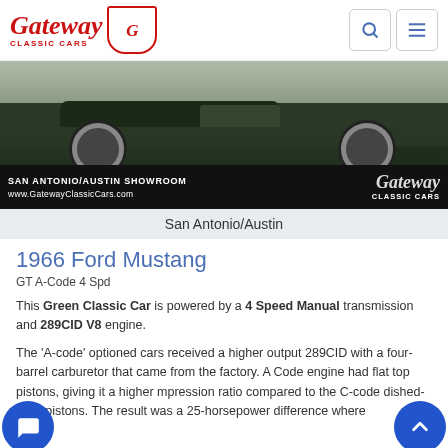Gateway Classic Cars
[Figure (photo): 1966 Ford Mustang GT at Gateway Classic Cars San Antonio/Austin Showroom. Dark green muscle car with chrome wheels. Banner shows 'SAN ANTONIO/AUSTIN SHOWROOM www.GatewayClassicCars.com' with Gateway Classic Cars logo script.]
San Antonio/Austin
1966 Ford Mustang
GT A-Code 4 Spd
This Green Classic Car is powered by a 4 Speed Manual transmission and 289CID V8 engine.
The 'A-code' optioned cars received a higher output 289CID with a four-barrel carburetor that came from the factory. A Code engine had flat top pistons, giving it a higher mpression ratio compared to the C-code dished-style pistons. The result was a 25-horsepower difference where